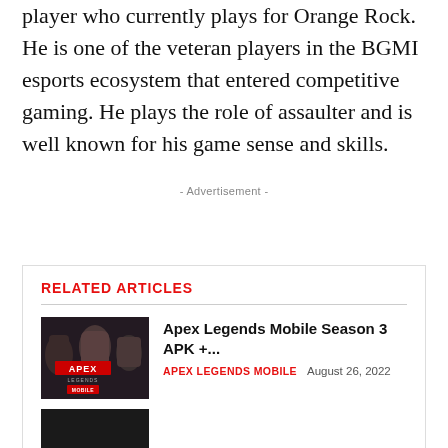player who currently plays for Orange Rock. He is one of the veteran players in the BGMI esports ecosystem that entered competitive gaming. He plays the role of assaulter and is well known for his game sense and skills.
- Advertisement -
RELATED ARTICLES
[Figure (photo): Apex Legends Mobile promotional artwork with characters and logo]
Apex Legends Mobile Season 3 APK +...
APEX LEGENDS MOBILE  August 26, 2022
[Figure (photo): Thumbnail image for a second related article (partially visible)]